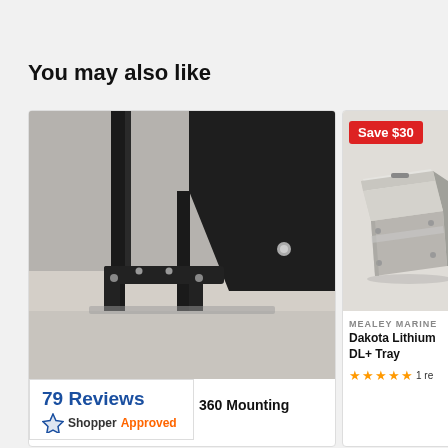You may also like
[Figure (photo): Product photo of a black metal mounting bracket assembly for a motor or trolling motor, showing rods, bolts, and metal components on a concrete floor]
79 Reviews
[Figure (logo): ShopperApproved logo with blue star and text]
360 Mounting
Save $30
[Figure (photo): Product photo of a silver/metallic battery tray or box with a lid]
MEALEY MARINE
Dakota Lithium DL+ Tray
1 re